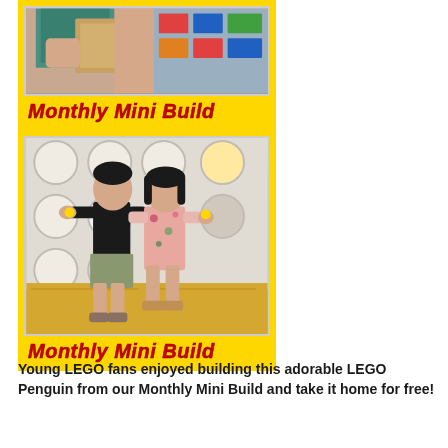[Figure (photo): Top partial photo in yellow LEGO frame showing person holding a box in a LEGO store, with 'Monthly Mini Build' label in red italic text below]
[Figure (photo): Bottom photo in yellow LEGO frame showing two young children (a boy in black shirt and a girl in floral dress) standing in a LEGO store holding small LEGO builds, with 'Monthly Mini Build' label in red italic text below]
Young LEGO fans enjoyed building this adorable LEGO Penguin from our Monthly Mini Build and take it home for free!